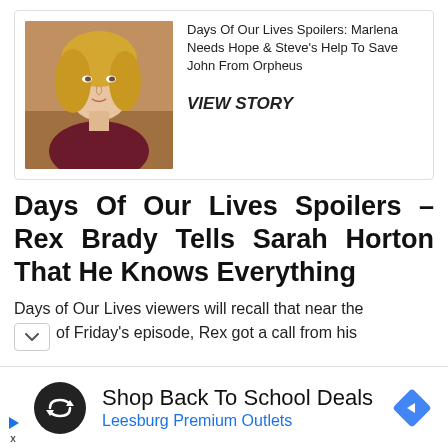[Figure (photo): Card with photo of a blonde woman on the left and article headline and VIEW STORY link on the right]
Days Of Our Lives Spoilers: Marlena Needs Hope & Steve's Help To Save John From Orpheus
VIEW STORY
Days Of Our Lives Spoilers – Rex Brady Tells Sarah Horton That He Knows Everything
Days of Our Lives viewers will recall that near the of Friday's episode, Rex got a call from his
[Figure (infographic): Advertisement: Shop Back To School Deals – Leesburg Premium Outlets with logo and navigation arrow icon]